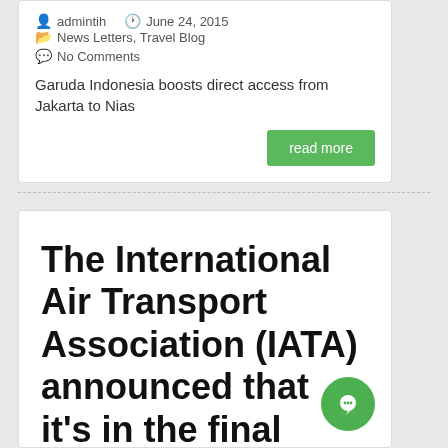admintih   June 24, 2015   News Letters, Travel Blog   No Comments
Garuda Indonesia boosts direct access from Jakarta to Nias
read more
The International Air Transport Association (IATA) announced that it's in the final development phase of its IATA travel pass